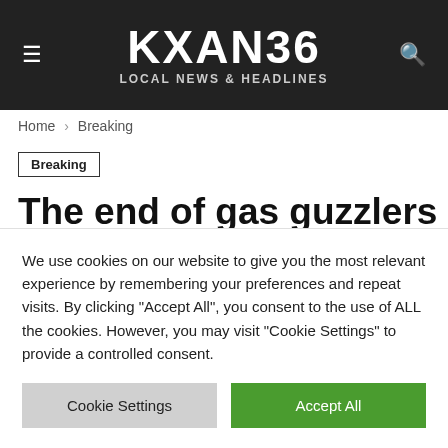KXAN36 LOCAL NEWS & HEADLINES
Home › Breaking
Breaking
The end of gas guzzlers EU mulls banning all new cars powered by diesel gasoline by 2035 media
We use cookies on our website to give you the most relevant experience by remembering your preferences and repeat visits. By clicking "Accept All", you consent to the use of ALL the cookies. However, you may visit "Cookie Settings" to provide a controlled consent.